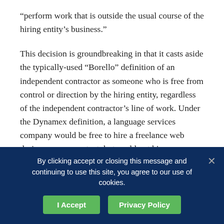“perform work that is outside the usual course of the hiring entity’s business.”
This decision is groundbreaking in that it casts aside the typically-used “Borello” definition of an independent contractor as someone who is free from control or direction by the hiring entity, regardless of the independent contractor’s line of work. Under the Dynamex definition, a language services company would be free to hire a freelance web designer or accountant, but could not hire translators or interpreters as independent contractors. In addition, businesses are now responsible for defending their classification of workers as independent contractors. The Dynamex
By clicking accept or closing this message and continuing to use this site, you agree to our use of cookies.